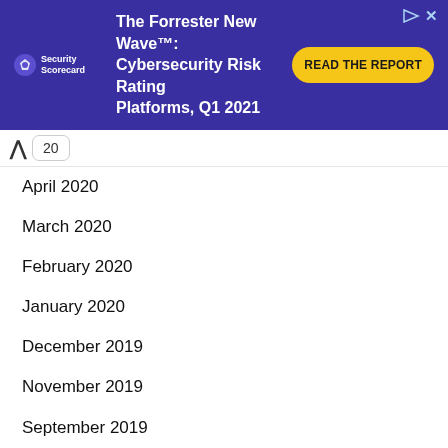[Figure (other): SecurityScorecard advertisement banner with purple background. Logo on left, headline 'The Forrester New Wave™: Cybersecurity Risk Rating Platforms, Q1 2021', yellow 'READ THE REPORT' CTA button on right. Close/play icons top right.]
20
April 2020
March 2020
February 2020
January 2020
December 2019
November 2019
September 2019
July 2019
June 2019
May 2019
April 2019
March 2019
January 2019